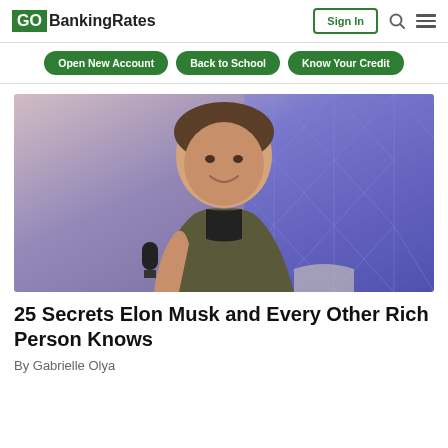GOBankingRates | Sign In
Open New Account | Back to School | Know Your Credit
[Figure (photo): Elon Musk smiling while holding a microphone, seated in a chair, in front of a geometric blue/purple background]
25 Secrets Elon Musk and Every Other Rich Person Knows
By Gabrielle Olya